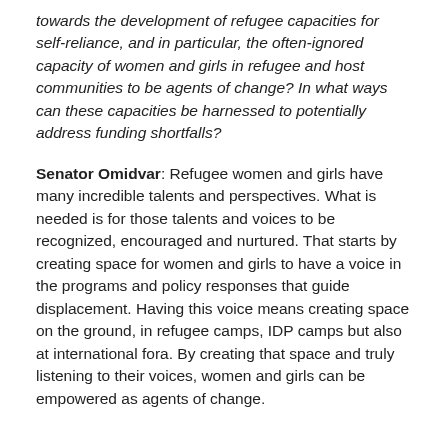towards the development of refugee capacities for self-reliance, and in particular, the often-ignored capacity of women and girls in refugee and host communities to be agents of change? In what ways can these capacities be harnessed to potentially address funding shortfalls?
Senator Omidvar: Refugee women and girls have many incredible talents and perspectives. What is needed is for those talents and voices to be recognized, encouraged and nurtured. That starts by creating space for women and girls to have a voice in the programs and policy responses that guide displacement. Having this voice means creating space on the ground, in refugee camps, IDP camps but also at international fora. By creating that space and truly listening to their voices, women and girls can be empowered as agents of change.